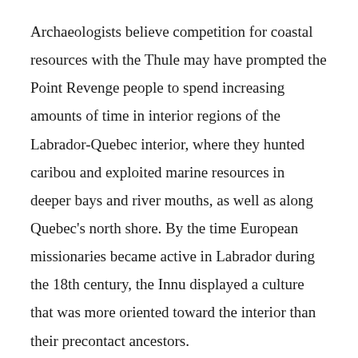Archaeologists believe competition for coastal resources with the Thule may have prompted the Point Revenge people to spend increasing amounts of time in interior regions of the Labrador-Quebec interior, where they hunted caribou and exploited marine resources in deeper bays and river mouths, as well as along Quebec's north shore. By the time European missionaries became active in Labrador during the 18th century, the Innu displayed a culture that was more oriented toward the interior than their precontact ancestors.
Although the Innu specialized in caribou hunting to a greater extent than the Point Revenge people, the groups had much in common. Like their forebears